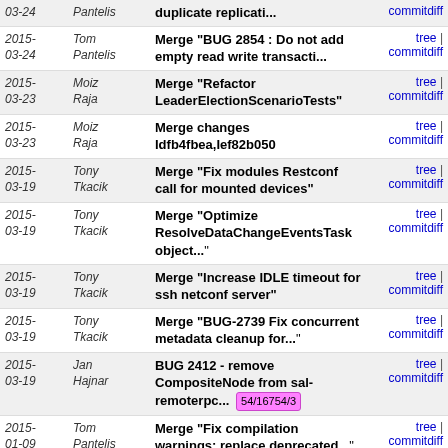| Date | Author | Message | Links |
| --- | --- | --- | --- |
| 2015-03-24 | Pantelis | ...duplicate replicati... | tree | commitdiff |
| 2015-03-24 | Tom Pantelis | Merge "BUG 2854 : Do not add empty read write transacti..." | tree | commitdiff |
| 2015-03-23 | Moiz Raja | Merge "Refactor LeaderElectionScenarioTests" | tree | commitdiff |
| 2015-03-23 | Moiz Raja | Merge changes Idfb4fbea,Ief82b050 | tree | commitdiff |
| 2015-03-19 | Tony Tkacik | Merge "Fix modules Restconf call for mounted devices" | tree | commitdiff |
| 2015-03-19 | Tony Tkacik | Merge "Optimize ResolveDataChangeEventsTask object..." | tree | commitdiff |
| 2015-03-19 | Tony Tkacik | Merge "Increase IDLE timeout for ssh netconf server" | tree | commitdiff |
| 2015-03-19 | Tony Tkacik | Merge "BUG-2739 Fix concurrent metadata cleanup for..." | tree | commitdiff |
| 2015-03-19 | Jan Hajnar | BUG 2412 - remove CompositeNode from sal-remoterpc... 54/16754/3 | tree | commitdiff |
| 2015-01-09 | Tom Pantelis | Merge "Fix compilation warnings: replace deprecated..." | tree | commitdiff |
| 2015-01-08 | Tom Pantelis | Merge "Fix compilation warnings: replace deprecated..." | tree | commitdiff |
| 2015-01-07 | Ed Warnicke | Merge "Fix bug 2554 - XSQL getting stuck on some models" | tree | commitdiff |
| 2015-01-07 | Tony Tkacik | Merge "Model dom-broker statistics" | tree | commitdiff |
| 2015- | Tony | Merge "Move ConcurrentDOMDataBroker | tree | commitdiff |